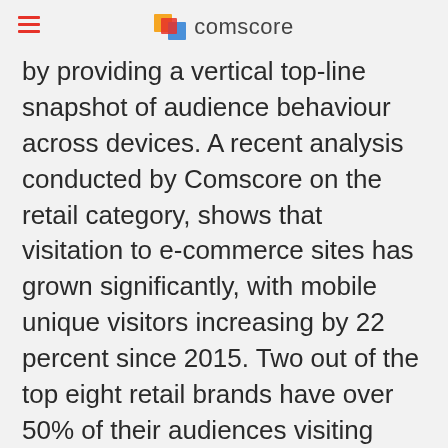comscore
by providing a vertical top-line snapshot of audience behaviour across devices. A recent analysis conducted by Comscore on the retail category, shows that visitation to e-commerce sites has grown significantly, with mobile unique visitors increasing by 22 percent since 2015. Two out of the top eight retail brands have over 50% of their audiences visiting exclusively from a mobile device, prompting retailers to adjust their digital strategy to fit multi-device consumers.